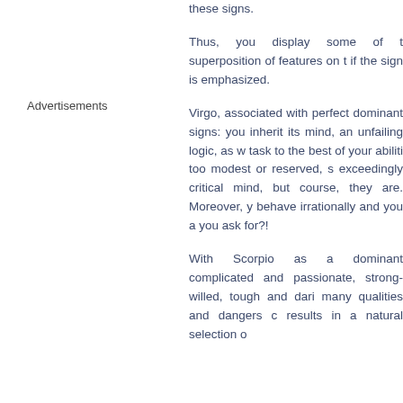these signs.
Thus, you display some of the superposition of features on the if the sign is emphasized.
Advertisements
Virgo, associated with perfect dominant signs: you inherit its mind, an unfailing logic, as w task to the best of your abiliti too modest or reserved, s exceedingly critical mind, but course, they are. Moreover, y behave irrationally and you a you ask for?!
With Scorpio as a dominant complicated and passionate, strong-willed, tough and dari many qualities and dangers c results in a natural selection o